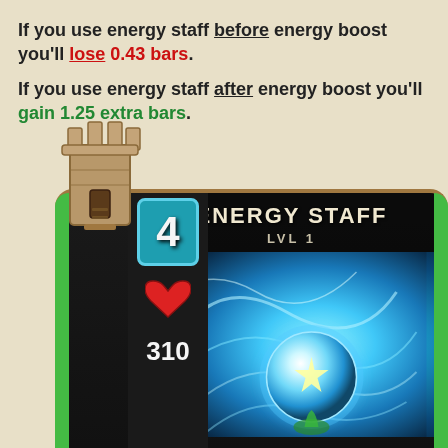If you use energy staff before energy boost you'll lose 0.43 bars. If you use energy staff after energy boost you'll gain 1.25 extra bars.
[Figure (illustration): A game card showing 'ENERGY STAFF LVL 1' with a tower chess piece icon rising above the card, a teal energy badge with the number 4, a red heart icon with HP value 310, and glowing blue energy orb artwork on a dark background with green side borders and gold card frame.]